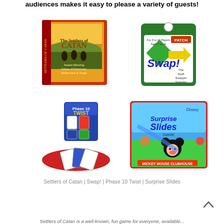audiences makes it easy to please a variety of guests!
[Figure (photo): Four board game product images: Settlers of Catan, Swap! card game, Phase 10 Twist, and Disney Surprise Slides Mickey Mouse Clubhouse game]
Settlers of Catan | Swap! | Phase 10 Twist | Surprise Slides
Settlers of Catan is a well-known, fun game for everyone, available...